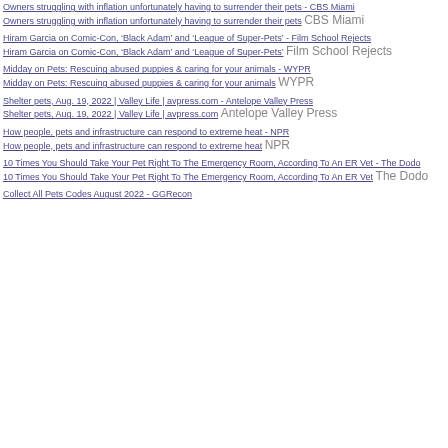Owners struggling with inflation unfortunately having to surrender their pets - CBS Miami
Owners struggling with inflation unfortunately having to surrender their pets  CBS Miami
Hiram Garcia on Comic-Con, ‘Black Adam’ and ‘League of Super-Pets’ - Film School Rejects
Hiram Garcia on Comic-Con, ‘Black Adam’ and ‘League of Super-Pets’  Film School Rejects
Midday on Pets: Rescuing abused puppies & caring for your animals - WYPR
Midday on Pets: Rescuing abused puppies & caring for your animals  WYPR
Shelter pets, Aug. 19, 2022 | Valley Life | avpress.com - Antelope Valley Press
Shelter pets, Aug. 19, 2022 | Valley Life | avpress.com  Antelope Valley Press
How people, pets and infrastructure can respond to extreme heat - NPR
How people, pets and infrastructure can respond to extreme heat  NPR
10 Times You Should Take Your Pet Right To The Emergency Room, According To An ER Vet - The Dodo
10 Times You Should Take Your Pet Right To The Emergency Room, According To An ER Vet  The Dodo
Collect All Pets Codes August 2022 - GGRecon